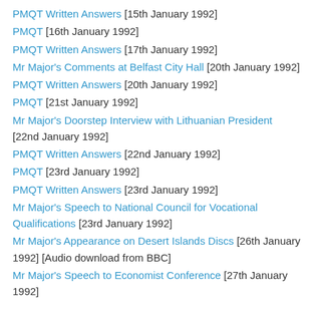PMQT Written Answers [15th January 1992]
PMQT [16th January 1992]
PMQT Written Answers [17th January 1992]
Mr Major's Comments at Belfast City Hall [20th January 1992]
PMQT Written Answers [20th January 1992]
PMQT [21st January 1992]
Mr Major's Doorstep Interview with Lithuanian President [22nd January 1992]
PMQT Written Answers [22nd January 1992]
PMQT [23rd January 1992]
PMQT Written Answers [23rd January 1992]
Mr Major's Speech to National Council for Vocational Qualifications [23rd January 1992]
Mr Major's Appearance on Desert Islands Discs [26th January 1992] [Audio download from BBC]
Mr Major's Speech to Economist Conference [27th January 1992]